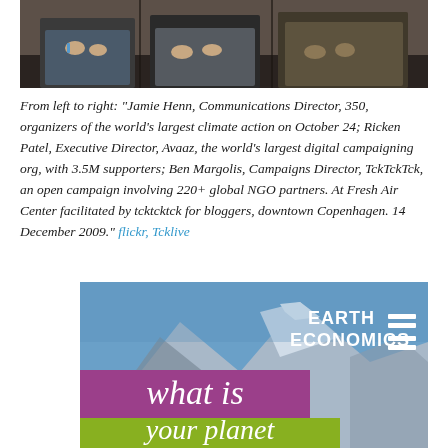[Figure (photo): Group photo of three people seated, cropped to show their laps/torsos and hands]
From left to right: "Jamie Henn, Communications Director, 350, organizers of the world's largest climate action on October 24; Ricken Patel, Executive Director, Avaaz, the world's largest digital campaigning org, with 3.5M supporters; Ben Margolis, Campaigns Director, TckTckTck, an open campaign involving 220+ global NGO partners. At Fresh Air Center facilitated by tcktcktck for bloggers, downtown Copenhagen. 14 December 2009." flickr, Tcklive
[Figure (logo): Earth Economics logo and promotional image showing mountain background with text 'EARTH ECONOMICS', 'what is', 'your planet']